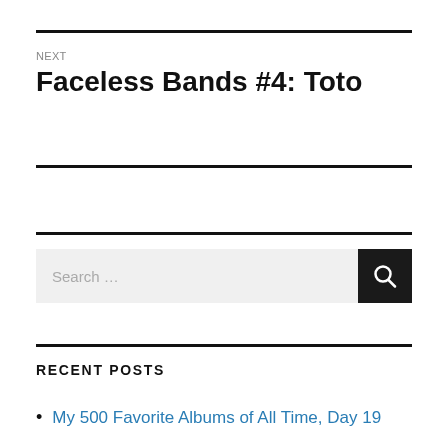NEXT
Faceless Bands #4: Toto
Search …
RECENT POSTS
My 500 Favorite Albums of All Time, Day 19